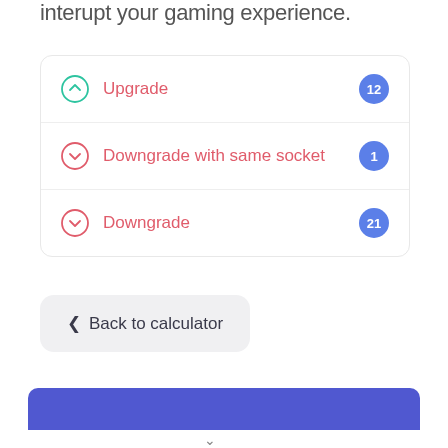interupt your gaming experience.
Upgrade — 12
Downgrade with same socket — 1
Downgrade — 21
< Back to calculator
[Figure (other): Blue rounded button bar at bottom of screen]